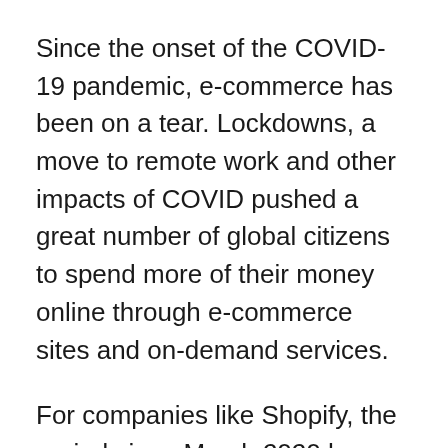Since the onset of the COVID-19 pandemic, e-commerce has been on a tear. Lockdowns, a move to remote work and other impacts of COVID pushed a great number of global citizens to spend more of their money online through e-commerce sites and on-demand services.
For companies like Shopify, the period since March 2020 has proven a bonanza. The Canadian e-commerce giant spent last March bouncing between $350 and $420 per share. Today, the company is worth